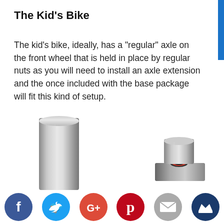The Kid’s Bike
The kid’s bike, ideally, has a “regular” axle on the front wheel that is held in place by regular nuts as you will need to install an axle extension and the once included with the base package will fit this kind of setup.
[Figure (photo): Two chrome/silver metal axle extension bolts or cylindrical metal parts against a white background. One tall cylindrical bolt on the left side, and one shorter bolt with a hex nut base on the lower right.]